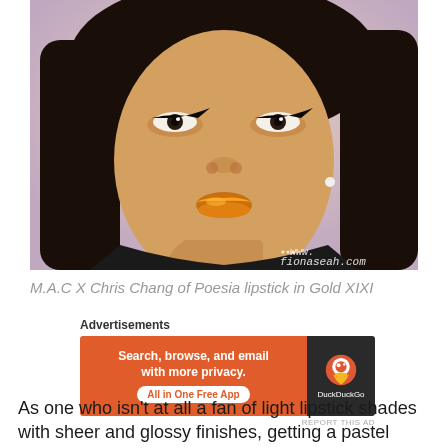[Figure (photo): Close-up photo of a woman wearing dramatic winged eyeliner and bold gold/orange lipstick, with watermark 'www.fionaseah.com' in bottom right corner]
M.A.C X Chris Chang of Poesia lipstick in Gold XIXI
[Figure (other): DuckDuckGo advertisement banner: 'Search, browse, and email with more privacy. All in One Free App' with orange background on left and DuckDuckGo logo on dark background on right]
As one who isn't at all a fan of light lipstick shades with sheer and glossy finishes, getting a pastel lemony